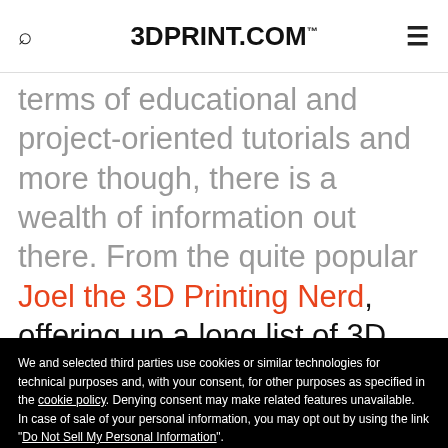3DPRINT.COM™
terms of educational and project-oriented tutorials and more though, there is a wealth of information out there. From the quite popular Joel the 3D Printing Nerd, offering up a long list of 3D printing projects, to
We and selected third parties use cookies or similar technologies for technical purposes and, with your consent, for other purposes as specified in the cookie policy. Denying consent may make related features unavailable.
In case of sale of your personal information, you may opt out by using the link "Do Not Sell My Personal Information".
To find out more about the categories of personal information collected and the purposes for which such information will be used, please refer to our privacy policy. You can consent to the use of such technologies by using the "Accept" button, by scrolling this page, by interacting with any link or button outside of this notice or by continuing to browse otherwise.
Reject
Accept
Learn more and customize